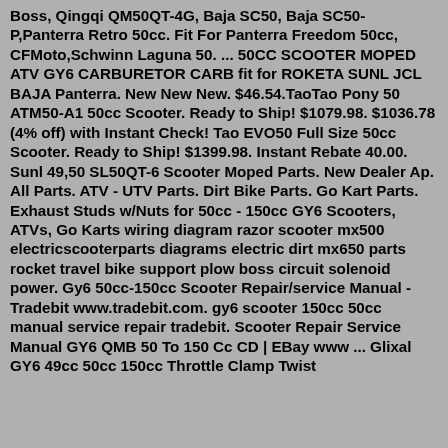Boss, Qingqi QM50QT-4G, Baja SC50, Baja SC50-P,Panterra Retro 50cc. Fit For Panterra Freedom 50cc, CFMoto,Schwinn Laguna 50. ... 50CC SCOOTER MOPED ATV GY6 CARBURETOR CARB fit for ROKETA SUNL JCL BAJA Panterra. New New New. $46.54.TaoTao Pony 50 ATM50-A1 50cc Scooter. Ready to Ship! $1079.98. $1036.78 (4% off) with Instant Check! Tao EVO50 Full Size 50cc Scooter. Ready to Ship! $1399.98. Instant Rebate 40.00. Sunl 49,50 SL50QT-6 Scooter Moped Parts. New Dealer Ap. All Parts. ATV - UTV Parts. Dirt Bike Parts. Go Kart Parts. Exhaust Studs w/Nuts for 50cc - 150cc GY6 Scooters, ATVs, Go Karts wiring diagram razor scooter mx500 electricscooterparts diagrams electric dirt mx650 parts rocket travel bike support plow boss circuit solenoid power. Gy6 50cc-150cc Scooter Repair/service Manual - Tradebit www.tradebit.com. gy6 scooter 150cc 50cc manual service repair tradebit. Scooter Repair Service Manual GY6 QMB 50 To 150 Cc CD | EBay www ... Glixal GY6 49cc 50cc 150cc Throttle Clamp Twist